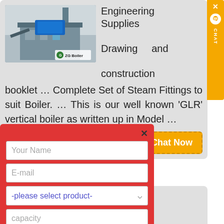[Figure (photo): Photo of industrial boiler/steam plant facility with ZG Boiler logo badge]
Engineering Supplies Drawing and construction booklet … Complete Set of Steam Fittings to suit Boiler. … This is our well known 'GLR' vertical boiler as written up in Model …
[Figure (screenshot): Chat Now button (orange, dashed border)]
[Figure (screenshot): Orange chat sidebar with X close button, chat bubble icon, and CHAT label]
[Figure (screenshot): Red modal form overlay with X close, Your Name field, E-mail field, product selector, capacity field, More information button, and Submit button]
Model Locomotive Research – Model Engineering, Live Steam …
Model Locomotive Research … appears in